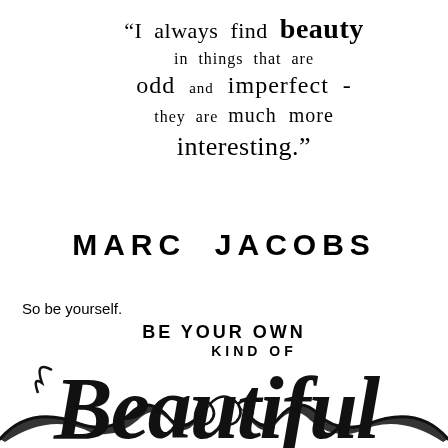“I always find beauty in things that are odd and imperfect - they are much more interesting.”
MARC JACOBS
So be yourself.
[Figure (illustration): Decorative script text reading 'BE YOUR OWN KIND OF Beautiful' in mixed typography with calligraphic styling]
[Figure (illustration): Decorative ornamental flourish design at the bottom of the page]